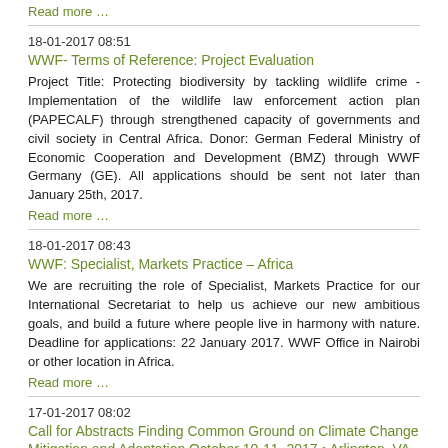Read more …
18-01-2017 08:51
WWF- Terms of Reference: Project Evaluation
Project Title: Protecting biodiversity by tackling wildlife crime - Implementation of the wildlife law enforcement action plan (PAPECALF) through strengthened capacity of governments and civil society in Central Africa. Donor: German Federal Ministry of Economic Cooperation and Development (BMZ) through WWF Germany (GE). All applications should be sent not later than January 25th, 2017.
Read more …
18-01-2017 08:43
WWF: Specialist, Markets Practice – Africa
We are recruiting the role of Specialist, Markets Practice for our International Secretariat to help us achieve our new ambitious goals, and build a future where people live in harmony with nature. Deadline for applications: 22 January 2017. WWF Office in Nairobi or other location in Africa.
Read more …
17-01-2017 08:02
Call for Abstracts Finding Common Ground on Climate Change Mitigation and Adaptation October 10-11, 2017 • Arlington, VA
Abstracts on these and related topics are being solicited from academic, industrial and governmental organizations at the local, state, national and regional level. The A&WMA highly encourages abstracts involving case studies of successful programs and projects. Abstracts of 200-300 words are being sought for both platform and poster presentation under the following topics:
Read more …